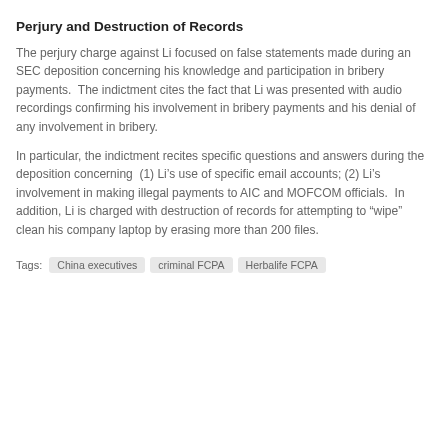Perjury and Destruction of Records
The perjury charge against Li focused on false statements made during an SEC deposition concerning his knowledge and participation in bribery payments. The indictment cites the fact that Li was presented with audio recordings confirming his involvement in bribery payments and his denial of any involvement in bribery.
In particular, the indictment recites specific questions and answers during the deposition concerning (1) Li’s use of specific email accounts; (2) Li’s involvement in making illegal payments to AIC and MOFCOM officials. In addition, Li is charged with destruction of records for attempting to “wipe” clean his company laptop by erasing more than 200 files.
Tags: China executives  criminal FCPA  Herbalife FCPA